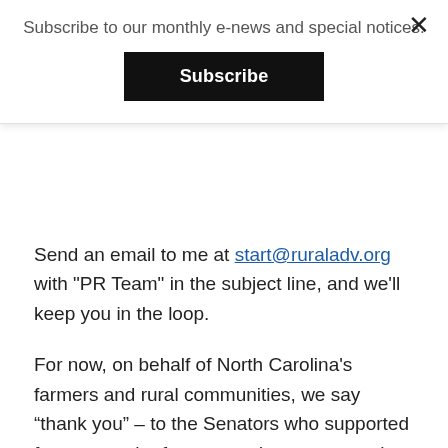Subscribe to our monthly e-news and special notices.
Subscribe
Send an email to me at [email] with "PR Team" in the subject line, and we'll keep you in the loop.
For now, on behalf of North Carolina's farmers and rural communities, we say “thank you” – to the Senators who supported farmers, to the farmers and consumers who spoke up, to our partners in the fight to save this valuable resource. The Senate Appropriations Committee's support is a significant first step towards preserving the NC Tobacco Trust Fund Commission and the investments it makes in our farmers, our food, and our rural communities.
If  the North Carolina Tobacco Trust Fund Commission has touched you – by supporting your farm, or your local farmers’ market, or a processing plant for your favorite